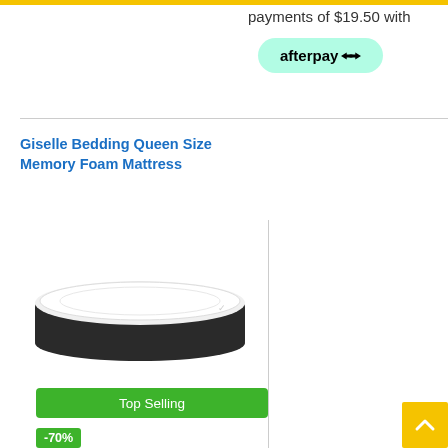payments of $19.50 with
[Figure (logo): Afterpay logo button with green pill background]
[Figure (photo): Giselle Bedding Queen Size Memory Foam Mattress product photo showing a white-topped mattress with dark gray sides]
Giselle Bedding Queen Size Memory Foam Mattress
Top Selling
-70%
$412.65 $1,375.40